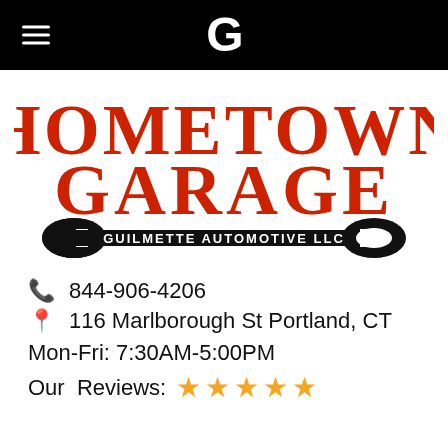Hometown Garage — Google Maps header bar
[Figure (logo): Hometown Garage logo: large red vintage text 'HOMETOWN GARAGE' with a black wrench graphic and subtitle 'GUILMETTE AUTOMOTIVE LLC']
844-906-4206
116 Marlborough St Portland, CT
Mon-Fri: 7:30AM-5:00PM
Our Reviews: ★★★★★